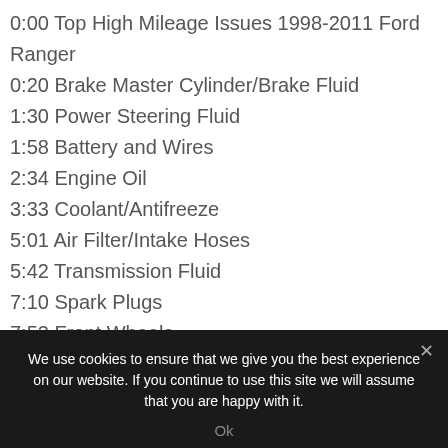0:00 Top High Mileage Issues 1998-2011 Ford Ranger
0:20 Brake Master Cylinder/Brake Fluid
1:30 Power Steering Fluid
1:58 Battery and Wires
2:34 Engine Oil
3:33 Coolant/Antifreeze
5:01 Air Filter/Intake Hoses
5:42 Transmission Fluid
7:10 Spark Plugs
7:53 Front Wheels
8:45 Radiator and AC Condenser Fins
9:40 Front End
We use cookies to ensure that we give you the best experience on our website. If you continue to use this site we will assume that you are happy with it.
Ok